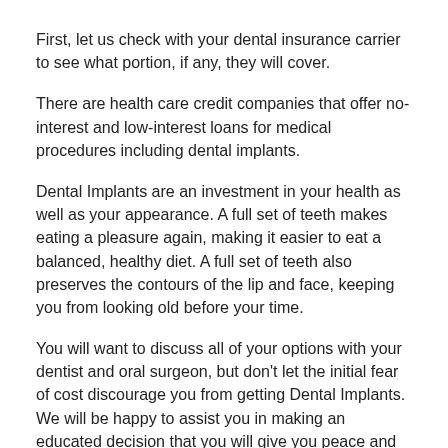First, let us check with your dental insurance carrier to see what portion, if any, they will cover.
There are health care credit companies that offer no-interest and low-interest loans for medical procedures including dental implants.
Dental Implants are an investment in your health as well as your appearance. A full set of teeth makes eating a pleasure again, making it easier to eat a balanced, healthy diet. A full set of teeth also preserves the contours of the lip and face, keeping you from looking old before your time.
You will want to discuss all of your options with your dentist and oral surgeon, but don't let the initial fear of cost discourage you from getting Dental Implants. We will be happy to assist you in making an educated decision that you will give you peace and satisfaction.